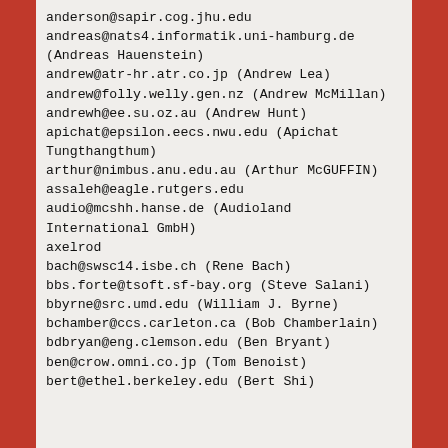anderson@sapir.cog.jhu.edu
andreas@nats4.informatik.uni-hamburg.de (Andreas Hauenstein)
andrew@atr-hr.atr.co.jp (Andrew Lea)
andrew@folly.welly.gen.nz (Andrew McMillan)
andrewh@ee.su.oz.au (Andrew Hunt)
apichat@epsilon.eecs.nwu.edu (Apichat Tungthangthum)
arthur@nimbus.anu.edu.au (Arthur McGUFFIN)
assaleh@eagle.rutgers.edu
audio@mcshh.hanse.de (Audioland International GmbH)
axelrod
bach@swsc14.isbe.ch (Rene Bach)
bbs.forte@tsoft.sf-bay.org (Steve Salani)
bbyrne@src.umd.edu (William J. Byrne)
bchamber@ccs.carleton.ca (Bob Chamberlain)
bdbryan@eng.clemson.edu (Ben Bryant)
ben@crow.omni.co.jp (Tom Benoist)
bert@ethel.berkeley.edu (Bert Shi)